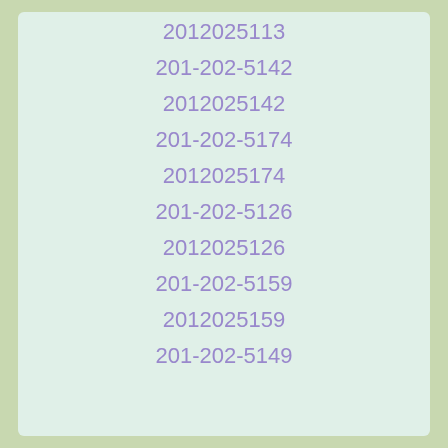2012025113
201-202-5142
2012025142
201-202-5174
2012025174
201-202-5126
2012025126
201-202-5159
2012025159
201-202-5149